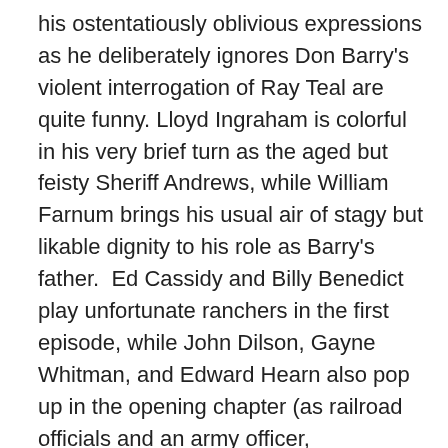his ostentatiously oblivious expressions as he deliberately ignores Don Barry's violent interrogation of Ray Teal are quite funny. Lloyd Ingraham is colorful in his very brief turn as the aged but feisty Sheriff Andrews, while William Farnum brings his usual air of stagy but likable dignity to his role as Barry's father.  Ed Cassidy and Billy Benedict play unfortunate ranchers in the first episode, while John Dilson, Gayne Whitman, and Edward Hearn also pop up in the opening chapter (as railroad officials and an army officer, respectively). Wheaton Chambers plays a railroad land buyer in the final chapter, and Hooper Atchley has a substantial part as an upright but understandably nervous land commissioner who's targeted by the heavies in the climactic episodes. Ed Brady is another doomed rancher, Budd Buster a storekeeper, and Jack Rockwell a townsman.